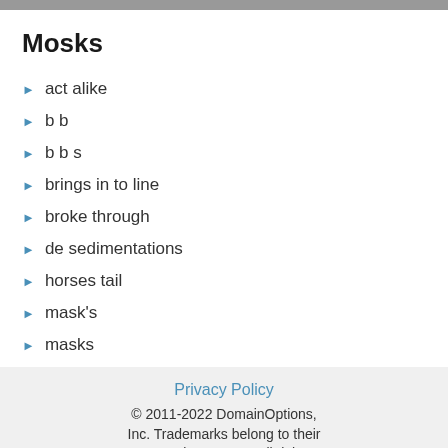Mosks
act alike
b b
b b s
brings in to line
broke through
de sedimentations
horses tail
mask's
masks
mks
more ▶
Privacy Policy
© 2011-2022 DomainOptions, Inc. Trademarks belong to their respective owners. All rights